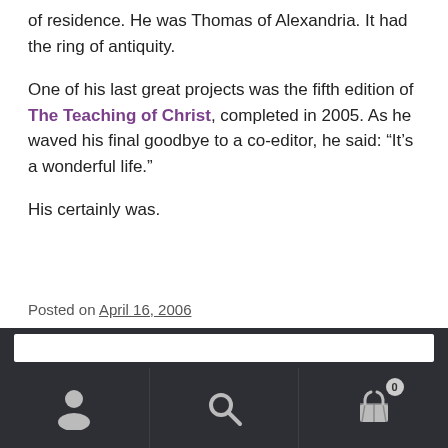of residence. He was Thomas of Alexandria. It had the ring of antiquity.
One of his last great projects was the fifth edition of The Teaching of Christ, completed in 2005. As he waved his final goodbye to a co-editor, he said: “It’s a wonderful life.”
His certainly was.
Posted on April 16, 2006
Indeed He Is Risen!